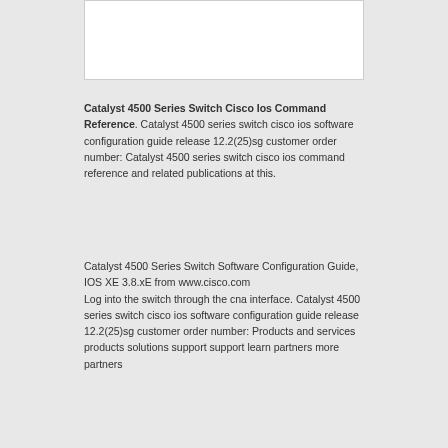[Figure (other): White rectangular image placeholder box at the top of the content area]
Catalyst 4500 Series Switch Cisco Ios Command Reference. Catalyst 4500 series switch cisco ios software configuration guide release 12.2(25)sg customer order number: Catalyst 4500 series switch cisco ios command reference and related publications at this.
Catalyst 4500 Series Switch Software Configuration Guide, IOS XE 3.8.xE from www.cisco.com
Log into the switch through the cna interface. Catalyst 4500 series switch cisco ios software configuration guide release 12.2(25)sg customer order number: Products and services products solutions support support learn partners more partners